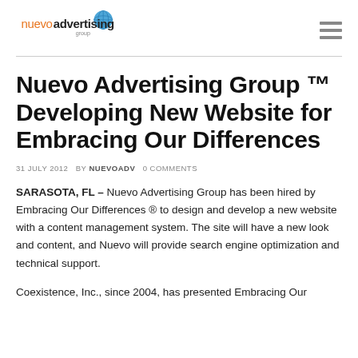nuevo advertising group
Nuevo Advertising Group ™ Developing New Website for Embracing Our Differences
31 JULY 2012   BY NUEVOADV   0 COMMENTS
SARASOTA, FL – Nuevo Advertising Group has been hired by Embracing Our Differences ® to design and develop a new website with a content management system. The site will have a new look and content, and Nuevo will provide search engine optimization and technical support.
Coexistence, Inc., since 2004, has presented Embracing Our